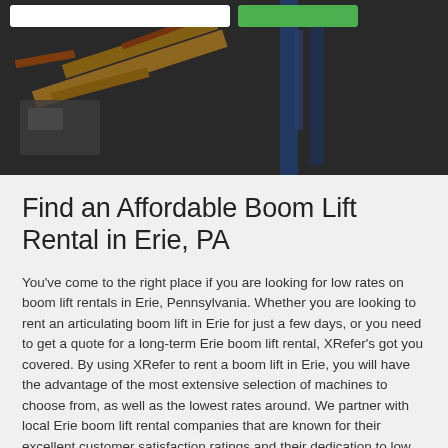[Figure (photo): Hero image showing boom lift machinery (yellow/orange) with blue structural elements against a dark overlay background. Navigation bar at top with search box and green button.]
Find an Affordable Boom Lift Rental in Erie, PA
You've come to the right place if you are looking for low rates on boom lift rentals in Erie, Pennsylvania. Whether you are looking to rent an articulating boom lift in Erie for just a few days, or you need to get a quote for a long-term Erie boom lift rental, XRefer's got you covered. By using XRefer to rent a boom lift in Erie, you will have the advantage of the most extensive selection of machines to choose from, as well as the lowest rates around. We partner with local Erie boom lift rental companies that are known for their excellent customer satisfaction ratings and their dedication to low prices. XRefer has done the research on local Erie boom lift dealers so that our customers don't have to, they just reap the benefits of lower prices and quick boom lift rentals in Erie, Pennsylvania.